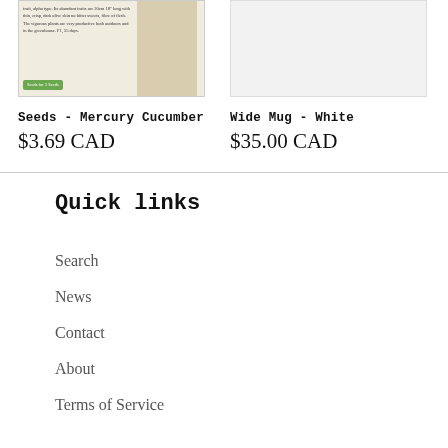[Figure (photo): Product image for Seeds - Mercury Cucumber, showing seed packet with text and green button]
[Figure (photo): Product image for Wide Mug - White, showing light gray/white background]
Seeds - Mercury Cucumber
$3.69 CAD
Wide Mug - White
$35.00 CAD
Quick links
Search
News
Contact
About
Terms of Service